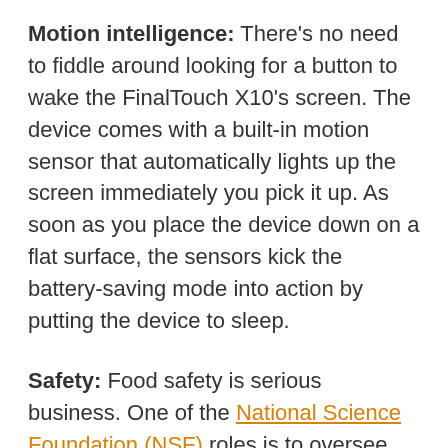Motion intelligence: There's no need to fiddle around looking for a button to wake the FinalTouch X10's screen. The device comes with a built-in motion sensor that automatically lights up the screen immediately you pick it up. As soon as you place the device down on a flat surface, the sensors kick the battery-saving mode into action by putting the device to sleep.
Safety: Food safety is serious business. One of the National Science Foundation (NSF) roles is to oversee the quality of food consumed by Americans. The FinalTouch X10 is NSF certified, so